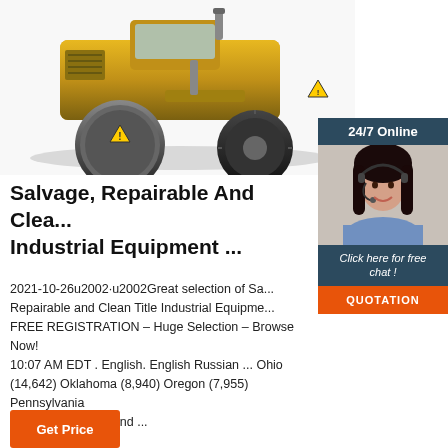[Figure (photo): Yellow industrial road roller / compactor equipment photograph]
[Figure (photo): 24/7 Online chat widget with photo of female customer service representative wearing headset. Includes 'Click here for free chat!' text and orange QUOTATION button.]
Salvage, Repairable And Clea... Industrial Equipment ...
2021-10-26u2002·u2002Great selection of Sa... Repairable and Clean Title Industrial Equipme... FREE REGISTRATION – Huge Selection – Browse Now! 10:07 AM EDT . English. English Russian ... Ohio (14,642) Oklahoma (8,940) Oregon (7,955) Pennsylvania (14,279) Rhode Island ...
[Figure (other): Orange 'Get Price' button (partially visible at bottom)]